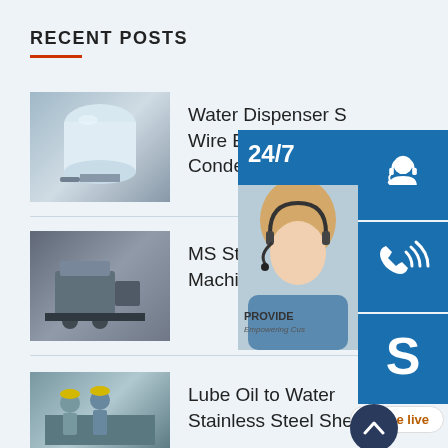RECENT POSTS
Water Dispenser S... Wire Bundy Tube Condensor
MS Steel Pipe Mak... Machine
Lube Oil to Water Stainless Steel Shell
[Figure (screenshot): Customer support sidebar with 24/7 banner, agent photo, headset icon, phone icon, Skype icon, and online live button]